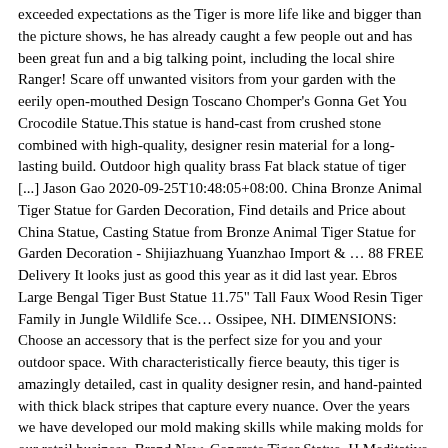exceeded expectations as the Tiger is more life like and bigger than the picture shows, he has already caught a few people out and has been great fun and a big talking point, including the local shire Ranger! Scare off unwanted visitors from your garden with the eerily open-mouthed Design Toscano Chomper's Gonna Get You Crocodile Statue.This statue is hand-cast from crushed stone combined with high-quality, designer resin material for a long-lasting build. Outdoor high quality brass Fat black statue of tiger [...] Jason Gao 2020-09-25T10:48:05+08:00. China Bronze Animal Tiger Statue for Garden Decoration, Find details and Price about China Statue, Casting Statue from Bronze Animal Tiger Statue for Garden Decoration - Shijiazhuang Yuanzhao Import & … 88 FREE Delivery It looks just as good this year as it did last year. Ebros Large Bengal Tiger Bust Statue 11.75" Tall Faux Wood Resin Tiger Family in Jungle Wildlife Sce… Ossipee, NH. DIMENSIONS: Choose an accessory that is the perfect size for you and your outdoor space. With characteristically fierce beauty, this tiger is amazingly detailed, cast in quality designer resin, and hand-painted with thick black stripes that capture every nuance. Over the years we have developed our mold making skills while making molds for our retail business. Brand New. Concrete Tiger Statue. H Meditative Buddha of the Grand Temple Giant Garden Statue (14) Model# NE22724 $ 899 00. W x 13.50 in. VTG MATCHING PAIR LARGE CERAMIC TIGER & LEOPARD MID CENTURY RETRO STATUE ANTIQUE. Ornamental Concrete Jardiniere Molds $135.00 Make Offer 77 on This